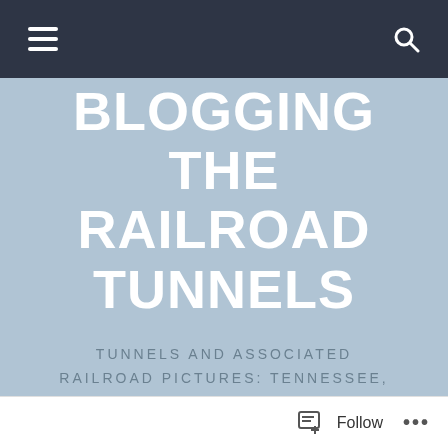Navigation bar with hamburger menu and search icon
BLOGGING THE RAILROAD TUNNELS
TUNNELS AND ASSOCIATED RAILROAD PICTURES: TENNESSEE, SW VIRGINIA, SE KENTUCKY
OSAKA VA
Follow ...